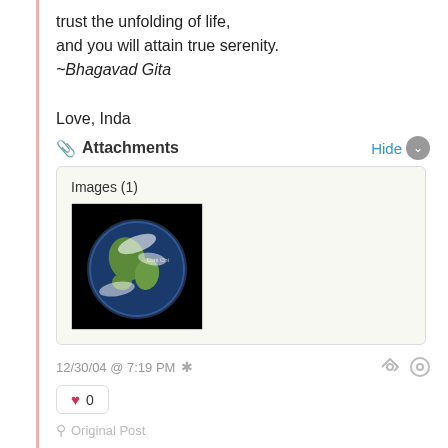trust the unfolding of life,
and you will attain true serenity.
~Bhagavad Gita
Love, Inda
Attachments
Hide
[Figure (screenshot): Attachments box containing Images (1) with a thumbnail of Earth from space on black background]
12/30/04 @ 7:19 PM *
0
Original Post